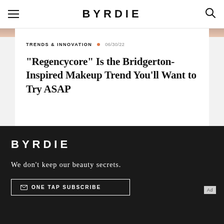BYRDIE
TRENDS & INNOVATION  06/30/22
"Regencycore" Is the Bridgerton-Inspired Makeup Trend You'll Want to Try ASAP
BYRDIE
We don't keep our beauty secrets.
ONE TAP SUBSCRIBE